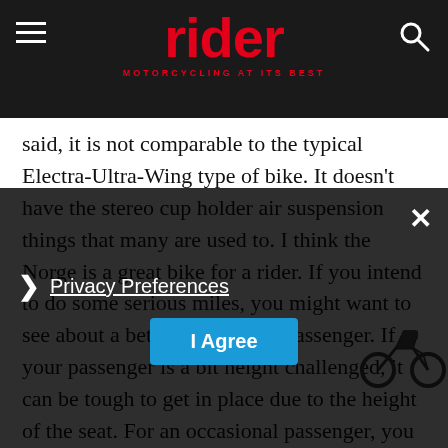rider — MOTORCYCLING AT ITS BEST
said, it is not comparable to the typical Electra-Ultra-Wing type of bike. It doesn't have the stereo cup holder air suspension things that many are used to. I think the Norge is a great bike for a rider. If you intend to do some serious miles, you might want to see about a better seat for the passenger. If your passenger is a bit height challenged, it can be tough to get in place due to the height of the seat. For an occasional passenger, you would be fine. Long trips with hard miles, maybe not so much. The Norge is a rider's bike. No cruise or stereo and I'm good with it. It needs my attention and engagement which makes
Privacy Preferences | I Agree